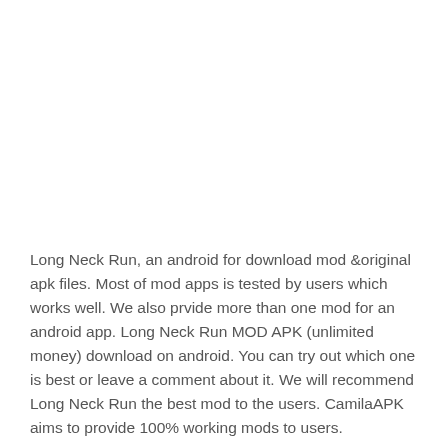Long Neck Run, an android for download mod &original apk files. Most of mod apps is tested by users which works well. We also prvide more than one mod for an android app. Long Neck Run MOD APK (unlimited money) download on android. You can try out which one is best or leave a comment about it. We will recommend Long Neck Run the best mod to the users. CamilaAPK aims to provide 100% working mods to users.